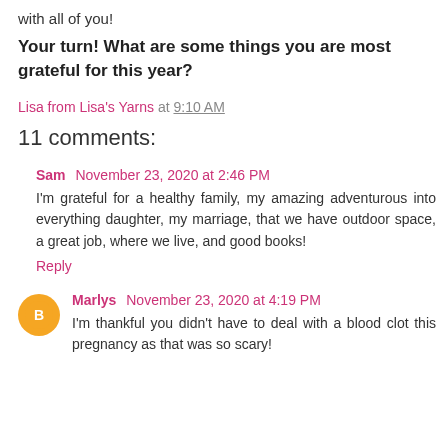with all of you!
Your turn! What are some things you are most grateful for this year?
Lisa from Lisa's Yarns at 9:10 AM
11 comments:
Sam November 23, 2020 at 2:46 PM
I'm grateful for a healthy family, my amazing adventurous into everything daughter, my marriage, that we have outdoor space, a great job, where we live, and good books!
Reply
Marlys November 23, 2020 at 4:19 PM
I'm thankful you didn't have to deal with a blood clot this pregnancy as that was so scary!